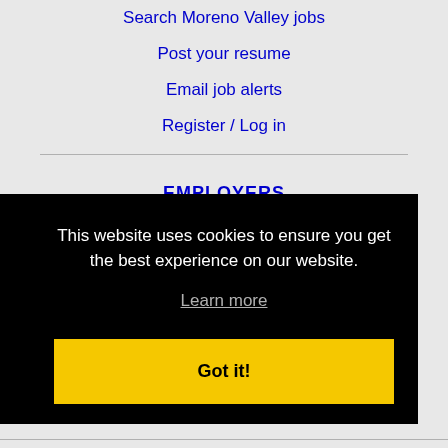Search Moreno Valley jobs
Post your resume
Email job alerts
Register / Log in
EMPLOYERS
Post jobs
Search resumes
Email resume alerts
This website uses cookies to ensure you get the best experience on our website.
Learn more
Got it!